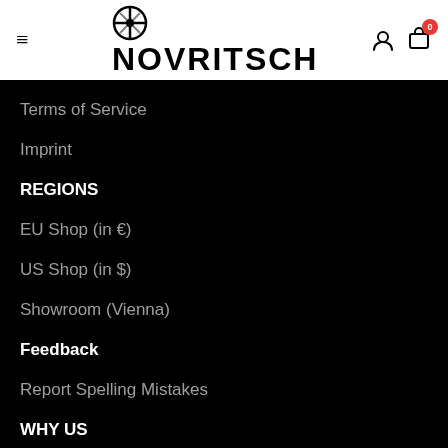NOVRITSCH
Terms of Service
Imprint
REGIONS
EU Shop (in €)
US Shop (in $)
Showroom (Vienna)
Feedback
Report Spelling Mistakes
WHY US